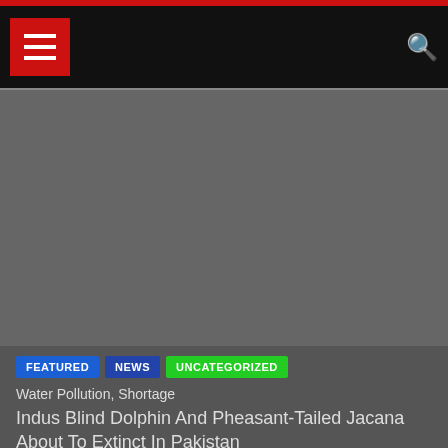Navigation bar with menu button and search icon
[Figure (photo): Dark gray image area/placeholder for a news article image]
FEATURED
NEWS
UNCATEGORIZED
Water Pollution, Shortage
Indus Blind Dolphin And Pheasant-Tailed Jacana About To Extinct In Pakistan